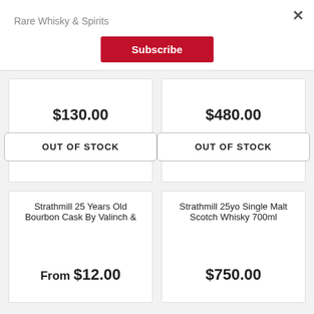Rare Whisky & Spirits
Subscribe
$130.00
OUT OF STOCK
$480.00
OUT OF STOCK
Strathmill 25 Years Old Bourbon Cask By Valinch &
From $12.00
Strathmill 25yo Single Malt Scotch Whisky 700ml
$750.00